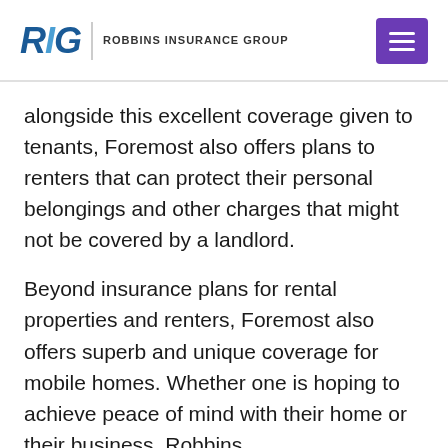RIG | ROBBINS INSURANCE GROUP
alongside this excellent coverage given to tenants, Foremost also offers plans to renters that can protect their personal belongings and other charges that might not be covered by a landlord.
Beyond insurance plans for rental properties and renters, Foremost also offers superb and unique coverage for mobile homes. Whether one is hoping to achieve peace of mind with their home or their business, Robbins